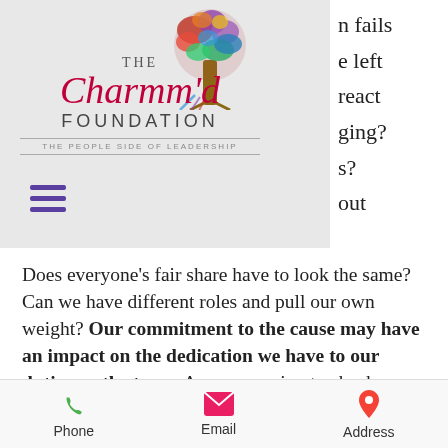[Figure (logo): The Charmm'd Foundation logo with colorful tree illustration and tagline 'THE PEOPLE SIDE OF LEADERSHIP' on a gray background, with hamburger menu icon]
n fails
e left
react
ging?
s?
out
Does everyone's fair share have to look the same? Can we have different roles and pull our own weight? Our commitment to the cause may have an impact on the dedication we have to our duties on the team. Are we pausing to check our commitment? Getting the right people on board (pairing talent
Phone   Email   Address